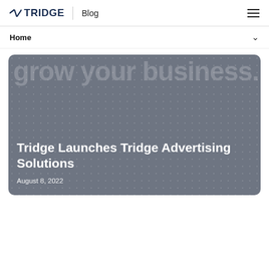TRIDGE | Blog
Home
[Figure (screenshot): Blog card with dark grey background, decorative dots pattern, large watermark text 'grow your business.' and overlay title 'Tridge Launches Tridge Advertising Solutions' with date 'August 8, 2022']
Tridge Launches Tridge Advertising Solutions
August 8, 2022